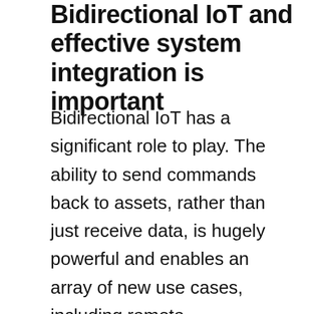Bidirectional IoT and effective system integration is important
Bidirectional IoT has a significant role to play. The ability to send commands back to assets, rather than just receive data, is hugely powerful and enables an array of new use cases, including remote management of equipment. For example, it enables farmers to command silos to release food, open gates or manage irrigation systems, without any need for expensive and often hard-to-source human interaction. Utility companies can remotely control water management